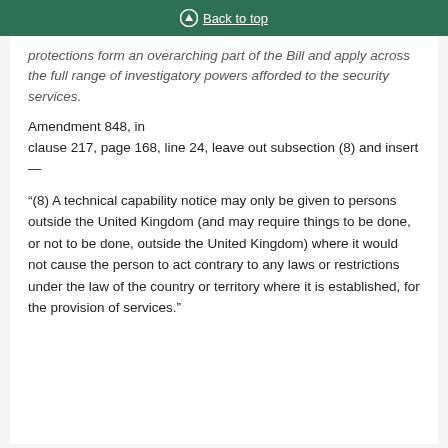Back to top
protections form an overarching part of the Bill and apply across the full range of investigatory powers afforded to the security services.
Amendment 848, in clause 217, page 168, line 24, leave out subsection (8) and insert—
“(8) A technical capability notice may only be given to persons outside the United Kingdom (and may require things to be done, or not to be done, outside the United Kingdom) where it would not cause the person to act contrary to any laws or restrictions under the law of the country or territory where it is established, for the provision of services.”